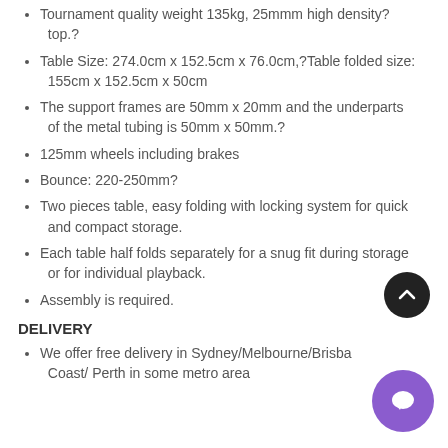Tournament quality weight 135kg, 25mmm high density? top.?
Table Size: 274.0cm x 152.5cm x 76.0cm,?Table folded size: 155cm x 152.5cm x 50cm
The support frames are 50mm x 20mm and the underparts of the metal tubing is 50mm x 50mm.?
125mm wheels including brakes
Bounce: 220-250mm?
Two pieces table, easy folding with locking system for quick and compact storage.
Each table half folds separately for a snug fit during storage or for individual playback.
Assembly is required.
DELIVERY
We offer free delivery in Sydney/Melbourne/Brisbane/ Gold Coast/ Perth in some metro area